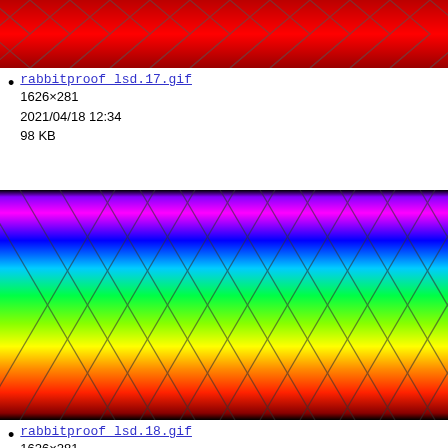[Figure (photo): Top strip of a rainbow/LSD pattern image showing a red gradient with diamond/net pattern overlay, cropped at top of page]
rabbitproof_lsd.17.gif
1626×281
2021/04/18 12:34
98 KB
[Figure (photo): Large rainbow gradient image with diamond/net pattern overlay showing spectrum from magenta/purple at top through blue, cyan, green, yellow, orange to red at bottom]
rabbitproof_lsd.18.gif
1626×281